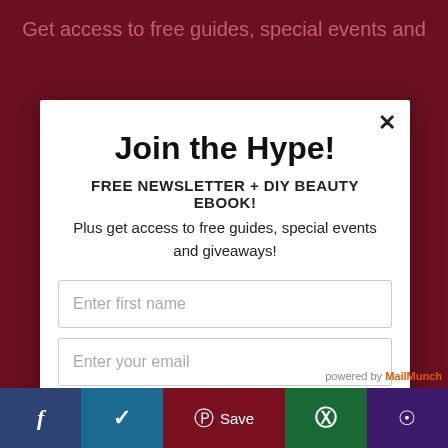Get access to free guides, special events and
Join the Hype!
FREE NEWSLETTER + DIY BEAUTY EBOOK!
Plus get access to free guides, special events and giveaways!
Enter first name
Enter your email
Subscribe
powered by MailMunch